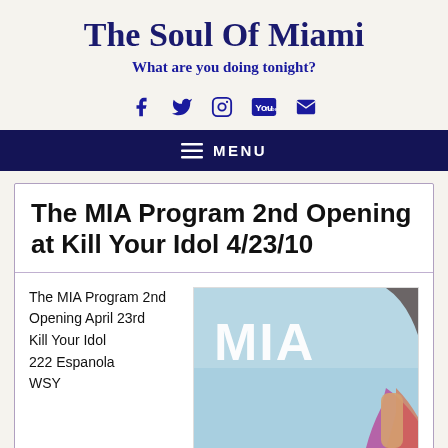The Soul Of Miami
What are you doing tonight?
[Figure (other): Social media icons: Facebook, Twitter, Instagram, YouTube, Email]
MENU
The MIA Program 2nd Opening at Kill Your Idol 4/23/10
The MIA Program 2nd Opening April 23rd
Kill Your Idol
222 Espanola
WSY
[Figure (photo): MIA promotional image showing the word MIA in white text on a light blue background, with a woman in a colorful outfit]